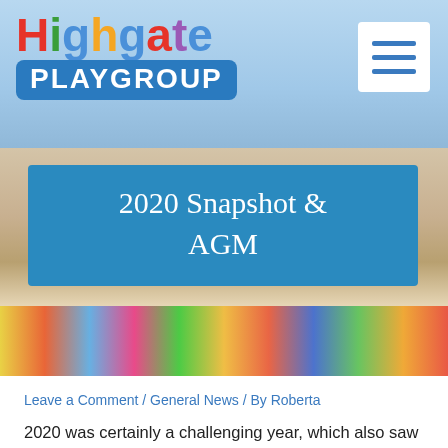[Figure (logo): Highgate Playgroup logo with colorful lettering on sky blue background and hamburger menu icon]
[Figure (photo): Interior photo of a playgroup room with colorful mural, with blue overlay banner reading '2020 Snapshot & AGM']
2020 Snapshot & AGM
Leave a Comment / General News / By Roberta
2020 was certainly a challenging year, which also saw the Highgate Playgroup having to make some tough